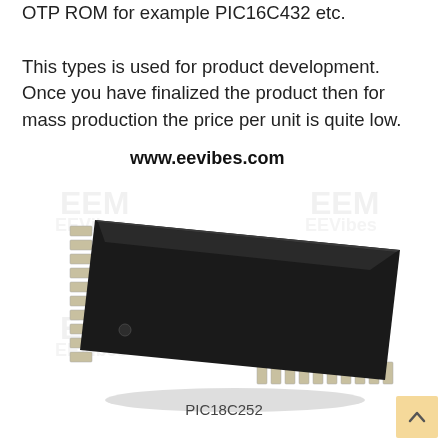OTP ROM for example PIC16C432 etc. This types is used for product development. Once you have finalized the product then for mass production the price per unit is quite low.
www.eevibes.com
[Figure (photo): Photo of a PIC18C252 OTP ROM microcontroller IC chip in SOIC package with multiple pins on both sides, black plastic body. Watermark text 'EEM' visible in background.]
PIC18C252